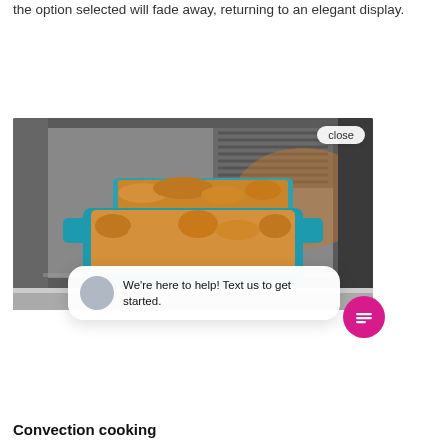the option selected will fade away, returning to an elegant display.
[Figure (screenshot): A baked casserole dish in a teal/blue baking pan inside a convection oven, with a chat popup overlay showing a circular avatar and the text 'We're here to help! Text us to get started.' with a 'close' button in the upper right, and a pink circular chat widget button at the bottom right.]
Convection cooking